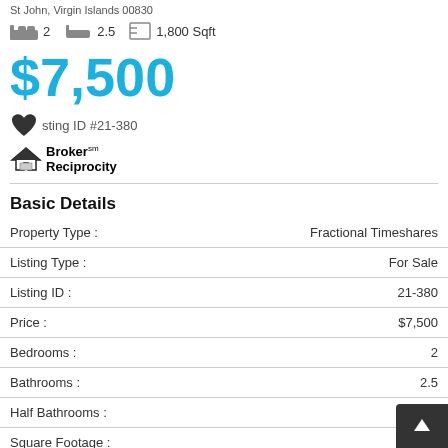St John, Virgin Islands 00830
2  2.5  1,800 Sqft
$7,500
Listing ID #21-380
[Figure (logo): Broker Reciprocity logo with house icon and text]
Basic Details
| Field | Value |
| --- | --- |
| Property Type : | Fractional Timeshares |
| Listing Type : | For Sale |
| Listing ID : | 21-380 |
| Price : | $7,500 |
| Bedrooms : | 2 |
| Bathrooms : | 2.5 |
| Half Bathrooms : |  |
| Square Footage : | 1 |